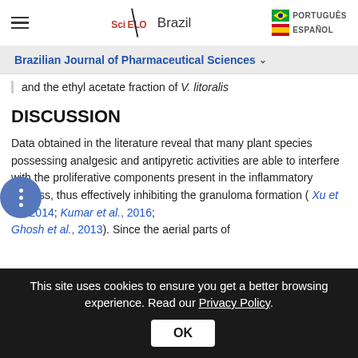SciELO Brazil | PORTUGUÊS | ESPAÑOL
Brazilian Journal of Pharmaceutical Sciences
and the ethyl acetate fraction of V. litoralis
DISCUSSION
Data obtained in the literature reveal that many plant species possessing analgesic and antipyretic activities are able to interfere with the proliferative components present in the inflammatory process, thus effectively inhibiting the granuloma formation (Xu et al., 2014; Kumar et al., 2016; Ghosh et al., 2013). Since the aerial parts of
This site uses cookies to ensure you get a better browsing experience. Read our Privacy Policy.